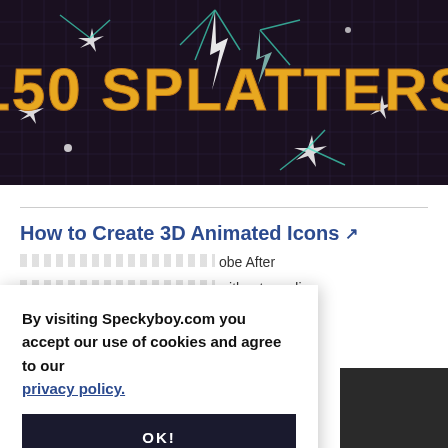[Figure (screenshot): Dark gridded background with scattered lightning/splatter effects and large yellow-orange bold text reading '150 SPLATTERS' with teal accents]
How to Create 3D Animated Icons ↗
This tutorial ... obe After ... without needing (partially obscured by cookie banner)
By visiting Speckyboy.com you accept our use of cookies and agree to our privacy policy.
OK!
[Figure (screenshot): Partial colorful image at bottom left, and a dark grey image at bottom right]